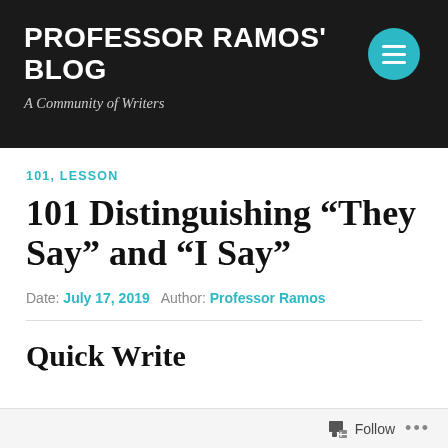PROFESSOR RAMOS' BLOG
A Community of Writers
101, LESSON
101 Distinguishing “They Say” and “I Say”
Date: July 17, 2019   Author: Professor Ramos
Quick Write
Follow ...